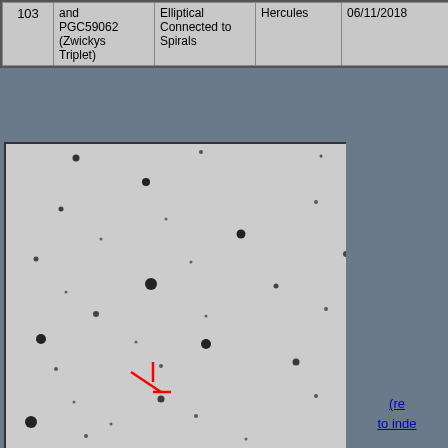|  | and PGC59062 (Zwickys Triplet) | Elliptical Connected to Spirals | Hercules | 06/11/2018 |
| --- | --- | --- | --- | --- |
| 103 | and
PGC59062
(Zwickys
Triplet) | Elliptical
Connected to
Spiralss | Hercules | 06/11/2018 |
[Figure (photo): Astronomical survey image showing a star field with many dark spots (stars) on a light grey background. A red crosshair/marker indicates the target galaxy in the lower-left quadrant of the image.]
(re
to inde